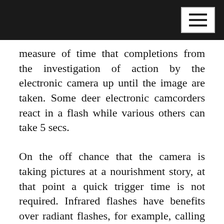measure of time that completions from the investigation of action by the electronic camera up until the image are taken. Some deer electronic camcorders react in a flash while various others can take 5 secs.
On the off chance that the camera is taking pictures at a nourishment story, at that point a quick trigger time is not required. Infrared flashes have benefits over radiant flashes, for example, calling for significantly a mess less power, they do not panic the deer and they respond speedier with spy camera. In any case, the glowing assortment creates better pictures. The assortment the computerized looking through camera's